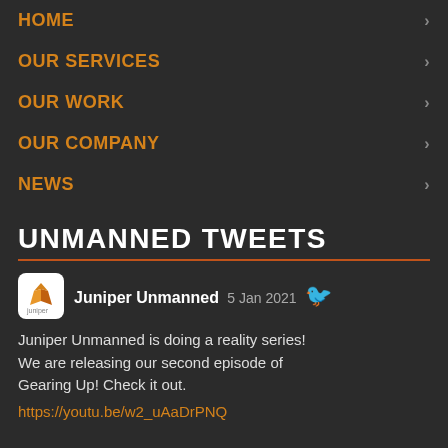HOME
OUR SERVICES
OUR WORK
OUR COMPANY
NEWS
UNMANNED TWEETS
Juniper Unmanned  5 Jan 2021
Juniper Unmanned is doing a reality series! We are releasing our second episode of Gearing Up! Check it out. https://youtu.be/w2_uAaDrPNQ